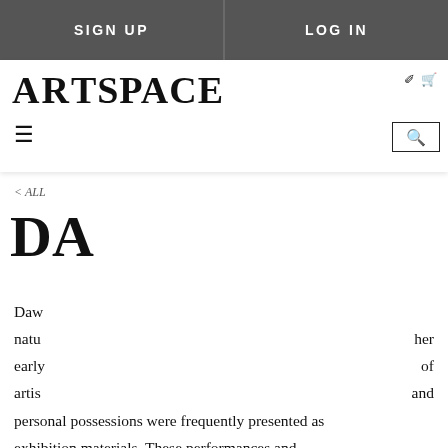SIGN UP    LOG IN
ARTSPACE
< ALL
DA
Daw natu her early of artis and personal possessions were frequently presented as exhibition materials. These performances and